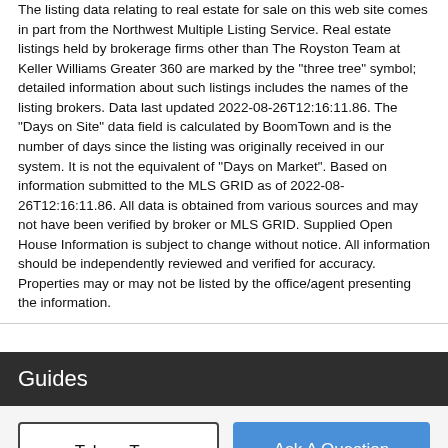The listing data relating to real estate for sale on this web site comes in part from the Northwest Multiple Listing Service. Real estate listings held by brokerage firms other than The Royston Team at Keller Williams Greater 360 are marked by the "three tree" symbol; detailed information about such listings includes the names of the listing brokers. Data last updated 2022-08-26T12:16:11.86. The "Days on Site" data field is calculated by BoomTown and is the number of days since the listing was originally received in our system. It is not the equivalent of "Days on Market". Based on information submitted to the MLS GRID as of 2022-08-26T12:16:11.86. All data is obtained from various sources and may not have been verified by broker or MLS GRID. Supplied Open House Information is subject to change without notice. All information should be independently reviewed and verified for accuracy. Properties may or may not be listed by the office/agent presenting the information.
Guides
Take a Tour
Ask A Question